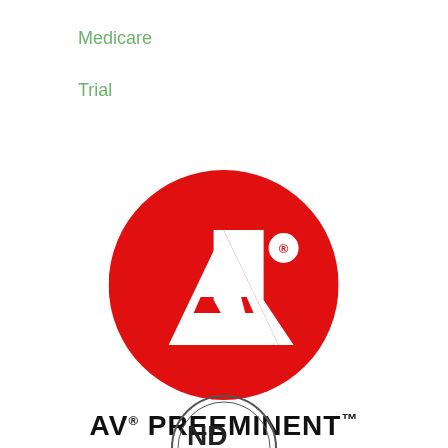Medicare
Trial
[Figure (logo): AV Preeminent logo — red circle with white 'AV' lettering and registered trademark symbol, with 'AV® PREEMINENT™' text below]
[Figure (logo): Partially visible circular badge/seal at bottom of page]